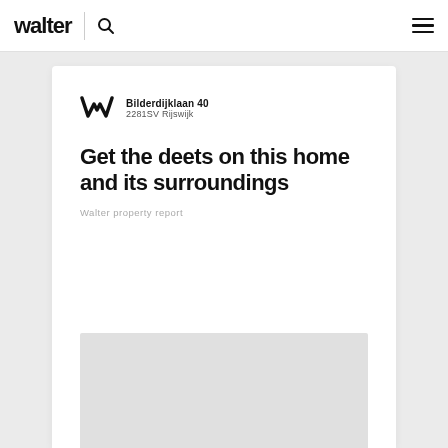walter
Bilderdijklaan 40
2281SV Rijswijk
Get the deets on this home and its surroundings
Walter property report
[Figure (photo): Gray placeholder image area at the bottom of the card]